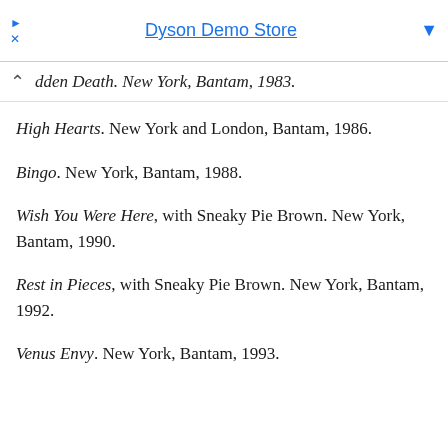Dyson Demo Store
dden Death. New York, Bantam, 1983.
High Hearts. New York and London, Bantam, 1986.
Bingo. New York, Bantam, 1988.
Wish You Were Here, with Sneaky Pie Brown. New York, Bantam, 1990.
Rest in Pieces, with Sneaky Pie Brown. New York, Bantam, 1992.
Venus Envy. New York, Bantam, 1993.